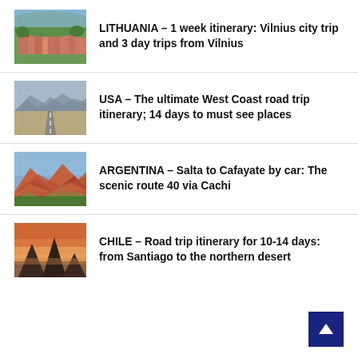[Figure (photo): Aerial view of a European city with red-roofed buildings and forested hills — Lithuania/Vilnius]
LITHUANIA – 1 week itinerary: Vilnius city trip and 3 day trips from Vilnius
[Figure (photo): Desert road extending to the horizon through arid mountain landscape — USA West Coast]
USA – The ultimate West Coast road trip itinerary; 14 days to must see places
[Figure (photo): Colorful red and brown mountain landscape with green vegetation — Argentina, Salta/Cafayate region]
ARGENTINA – Salta to Cafayate by car: The scenic route 40 via Cachi
[Figure (photo): Two dark volcanic peaks silhouetted against a dusky sky — Chile]
CHILE – Road trip itinerary for 10-14 days: from Santiago to the northern desert